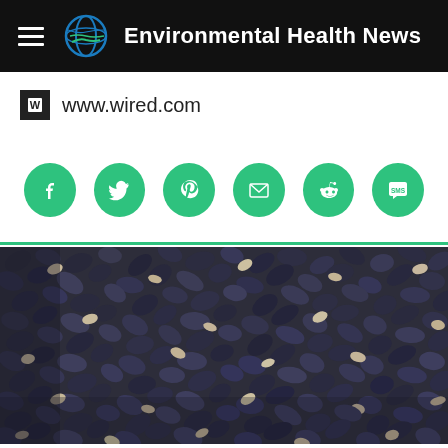Environmental Health News
www.wired.com
[Figure (infographic): Social sharing buttons: Facebook, Twitter, Pinterest, Email, Reddit, SMS — all green circular icons]
[Figure (photo): Close-up photograph of a dense cluster of blue-black mussels covering a rocky surface]